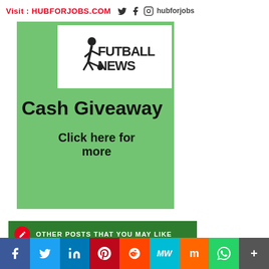Visit : HUBFORJOBS.COM  hubforjobs
[Figure (infographic): Green background promotional banner for Futball News Cash Giveaway with white logo box, bold text 'Cash Giveaway' and 'Click here for more']
OTHER POSTS THAT YOU MAY LIKE
[Figure (infographic): Social media share buttons footer bar: Facebook, Twitter, LinkedIn, Pinterest, Reddit, MeWe, Mix, WhatsApp, More]